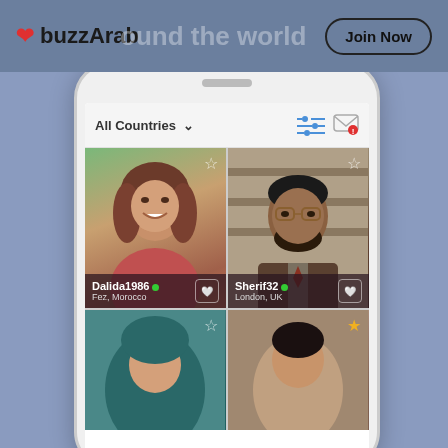buzzArab | around the world | Join Now
[Figure (screenshot): Mobile phone mockup showing the buzzArab dating app interface with profile photos of Dalida1986 from Fez Morocco and Sherif32 from London UK, plus two partially visible profiles below, with All Countries filter and messaging icons]
Dalida1986
Fez, Morocco
Sherif32
London, UK